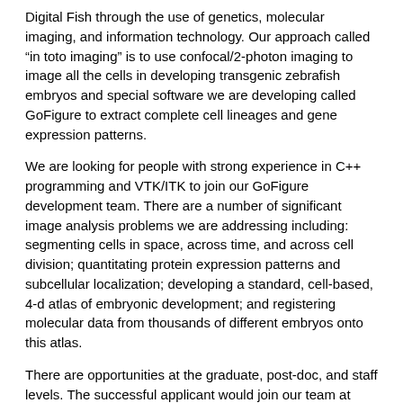Digital Fish through the use of genetics, molecular imaging, and information technology. Our approach called "in toto imaging" is to use confocal/2-photon imaging to image all the cells in developing transgenic zebrafish embryos and special software we are developing called GoFigure to extract complete cell lineages and gene expression patterns.
We are looking for people with strong experience in C++ programming and VTK/ITK to join our GoFigure development team. There are a number of significant image analysis problems we are addressing including: segmenting cells in space, across time, and across cell division; quantitating protein expression patterns and subcellular localization; developing a standard, cell-based, 4-d atlas of embryonic development; and registering molecular data from thousands of different embryos onto this atlas.
There are opportunities at the graduate, post-doc, and staff levels. The successful applicant would join our team at Caltech in Pasadena/LA soon and then move with us to my new lab in the Department of Systems Biology at Harvard Medical School in Boston in summer 2008. To apply, please send a cover letter, CV, and letters of reference to me by email (megason@caltech.edu).
For more information please see below: www.digitalfish.org <http://www.digitalfish.org/> or talk to Alexandre Gouaillard or myself at the upcoming NAMIC meeting in Boston ( june 2007 ). http://www.na-